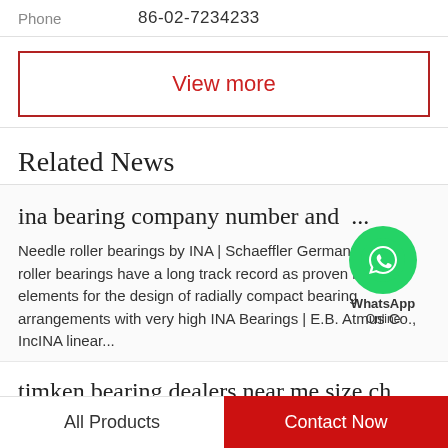Phone    86-02-7234233
View more
Related News
ina bearing company number and ...
Needle roller bearings by INA | Schaeffler GermanyNeedle roller bearings have a long track record as proven machine elements for the design of radially compact bearing arrangements with very high INA Bearings | E.B. Atmus Co., IncINA linear...
timken bearing dealers near me size ch
All Products
Contact Now